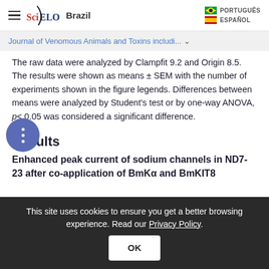SciELO Brazil
Journal of Venomous Animals and Toxins includi...
The raw data were analyzed by Clampfit 9.2 and Origin 8.5. The results were shown as means ± SEM with the number of experiments shown in the figure legends. Differences between means were analyzed by Student's test or by one-way ANOVA, p< 0.05 was considered a significant difference.
Results
Enhanced peak current of sodium channels in ND7-23 after co-application of BmKα and BmKIT8
This site uses cookies to ensure you get a better browsing experience. Read our Privacy Policy.